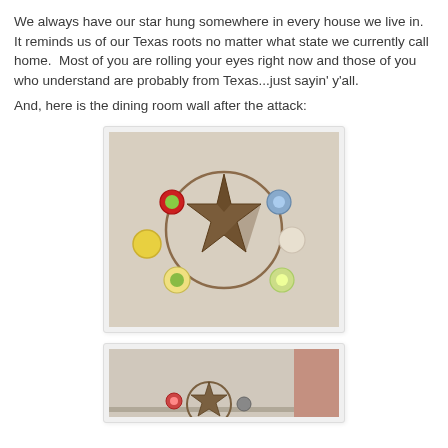We always have our star hung somewhere in every house we live in.  It reminds us of our Texas roots no matter what state we currently call home.  Most of you are rolling your eyes right now and those of you who understand are probably from Texas...just sayin' y'all.
And, here is the dining room wall after the attack:
[Figure (photo): Photo of a dining room wall decorated with a large metal Texas star in a circle, surrounded by several small decorative round plates in various colors.]
[Figure (photo): Partial photo showing shelves with decorative items including a smaller star and round ornaments, partially visible at bottom of page.]